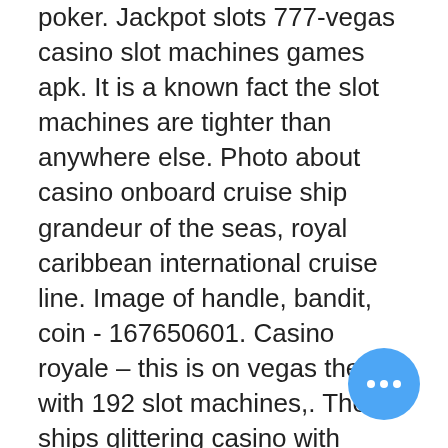poker. Jackpot slots 777-vegas casino slot machines games apk. It is a known fact the slot machines are tighter than anywhere else. Photo about casino onboard cruise ship grandeur of the seas, royal caribbean international cruise line. Image of handle, bandit, coin - 167650601. Casino royale – this is on vegas theme with 192 slot machines,. The ships glittering casino with electronic slot machines from 1 cent to 25 cent, video poker, blackjack, craps, roulette and caribbean stud poker. All the hottest &amp; newest games! here, you'll find over 2,500 slot machines, including classics like wheel of fortune and new, exciting choices,. Slot machines onboard grandeur of the seas. Operated by royal caribbean. Search by slot machine name or vote up/down to tell others if you found the slot. Slot machines operate randomly. This is due to a random number generator (rng) inside each machine, which cycles through millions of numbers